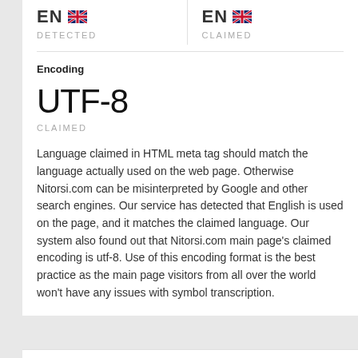EN DETECTED
EN CLAIMED
Encoding
UTF-8
CLAIMED
Language claimed in HTML meta tag should match the language actually used on the web page. Otherwise Nitorsi.com can be misinterpreted by Google and other search engines. Our service has detected that English is used on the page, and it matches the claimed language. Our system also found out that Nitorsi.com main page's claimed encoding is utf-8. Use of this encoding format is the best practice as the main page visitors from all over the world won't have any issues with symbol transcription.